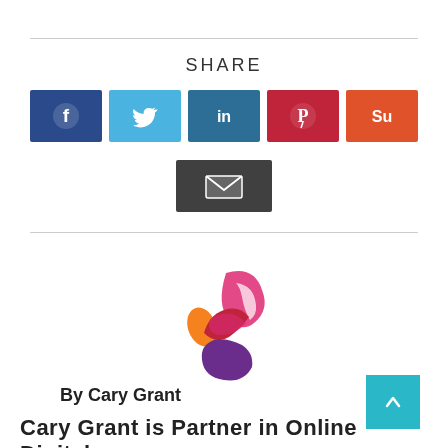SHARE
[Figure (infographic): Social media share buttons: Facebook (dark blue), Twitter (light blue), LinkedIn (teal blue), Pinterest (red), StumbleUpon (orange), Email (dark grey)]
[Figure (logo): Colorful abstract logo with orange, pink/magenta, red and purple overlapping ribbon/pencil shapes]
By Cary Grant
Cary Grant is Partner in Online Digital